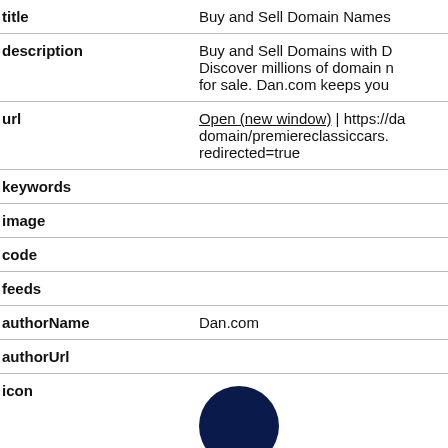| field | value |
| --- | --- |
| title | Buy and Sell Domain Names |
| description | Buy and Sell Domains with D... Discover millions of domain n... for sale. Dan.com keeps you... |
| url | Open (new window) | https://da... domain/premiereclassiccars.... redirected=true |
| keywords |  |
| image |  |
| code |  |
| feeds |  |
| authorName | Dan.com |
| authorUrl |  |
| icon |  |